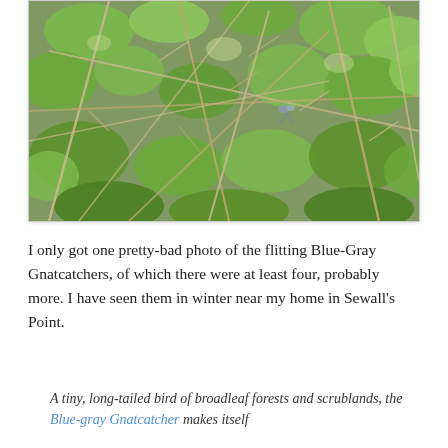[Figure (photo): A photo of green leafy shrubs and bare branches, with a small Blue-Gray Gnatcatcher bird partially visible among the branches and foliage.]
I only got one pretty-bad photo of the flitting Blue-Gray Gnatcatchers, of which there were at least four, probably more. I have seen them in winter near my home in Sewall's Point.
A tiny, long-tailed bird of broadleaf forests and scrublands, the Blue-gray Gnatcatcher makes itself…